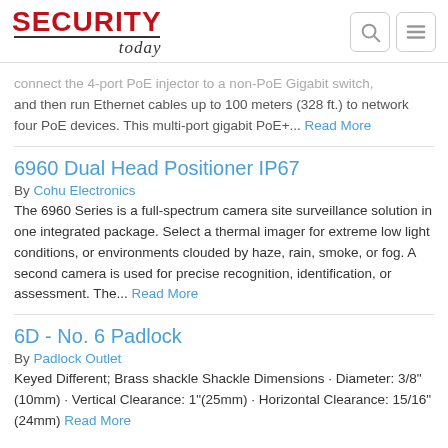SECURITY today
connect the 4-port PoE injector to a non-PoE Gigabit switch, and then run Ethernet cables up to 100 meters (328 ft.) to network four PoE devices. This multi-port gigabit PoE+... Read More
6960 Dual Head Positioner IP67
By Cohu Electronics
The 6960 Series is a full-spectrum camera site surveillance solution in one integrated package. Select a thermal imager for extreme low light conditions, or environments clouded by haze, rain, smoke, or fog. A second camera is used for precise recognition, identification, or assessment. The... Read More
6D - No. 6 Padlock
By Padlock Outlet
Keyed Different; Brass shackle Shackle Dimensions · Diameter: 3/8"(10mm) · Vertical Clearance: 1"(25mm) · Horizontal Clearance: 15/16"(24mm) Read More